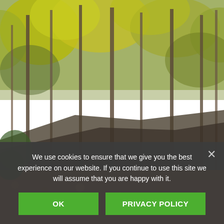[Figure (photo): Autumn forest scene with tall thin trees, yellow-green foliage, rocky terrain covered with fallen orange and brown leaves, overcast sky visible through the canopy.]
We use cookies to ensure that we give you the best experience on our website. If you continue to use this site we will assume that you are happy with it.